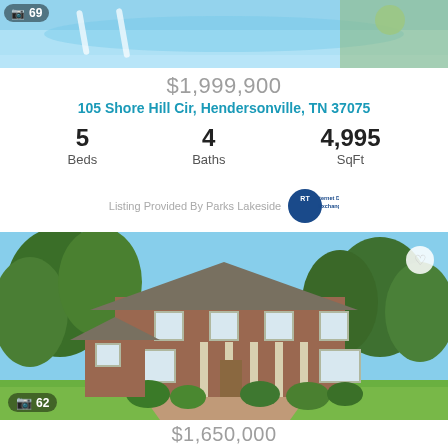[Figure (photo): Aerial/pool photo with photo count badge showing 69]
$1,999,900
105 Shore Hill Cir, Hendersonville, TN 37075
5 Beds  4 Baths  4,995 SqFt
Listing Provided By Parks Lakeside
[Figure (photo): Exterior photo of large brick two-story colonial home with green lawn and trees. Photo count badge showing 62.]
$1,650,000